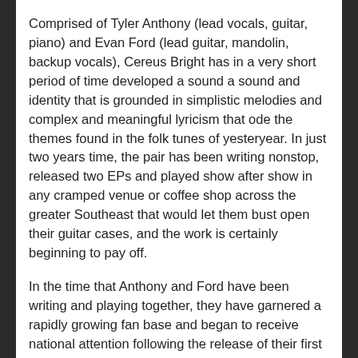Comprised of Tyler Anthony (lead vocals, guitar, piano) and Evan Ford (lead guitar, mandolin, backup vocals), Cereus Bright has in a very short period of time developed a sound a sound and identity that is grounded in simplistic melodies and complex and meaningful lyricism that ode the themes found in the folk tunes of yesteryear. In just two years time, the pair has been writing nonstop, released two EPs and played show after show in any cramped venue or coffee shop across the greater Southeast that would let them bust open their guitar cases, and the work is certainly beginning to pay off.
In the time that Anthony and Ford have been writing and playing together, they have garnered a rapidly growing fan base and began to receive national attention following the release of their first EP, Goldmine, in November of 2012. The band recently released their sophomore EP, Happier Than Me, just last month, from which the track “Stella” was their second song to be featured in Volvo’s “Joyride” campaign.
See Cereus Bright tonight along with Milktooth, Joseph Arthur, Rosco Bandana and Josephine and the Wildfront at The High Watt on Cannery Row, at the Nashville Communion December Club Night. It is going to be a festive occasion ripe with great music and the tackiest of sweaters. The music begins at 7:30